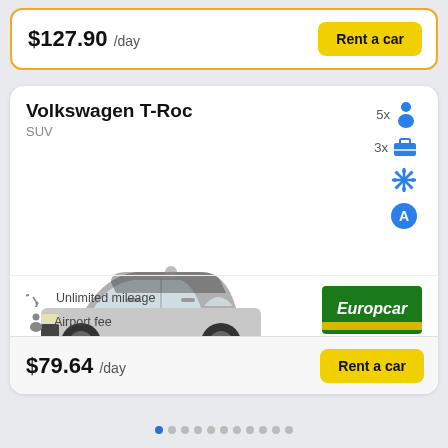$127.90 /day
Rent a car
Volkswagen T-Roc
SUV
[Figure (illustration): Volkswagen T-Roc SUV car image, silver/grey color, side-front view]
5x passengers
3x luggage
Air conditioning (snowflake icon)
Automatic transmission (A icon)
Unlimited mileage
Airport fee
[Figure (logo): Europcar logo - green background with yellow stripe]
$79.64 /day
Rent a car